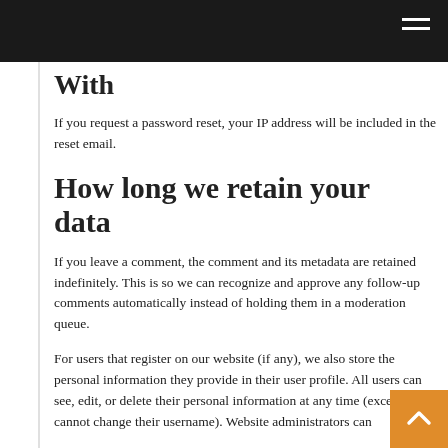With
If you request a password reset, your IP address will be included in the reset email.
How long we retain your data
If you leave a comment, the comment and its metadata are retained indefinitely. This is so we can recognize and approve any follow-up comments automatically instead of holding them in a moderation queue.
For users that register on our website (if any), we also store the personal information they provide in their user profile. All users can see, edit, or delete their personal information at any time (except they cannot change their username). Website administrators can